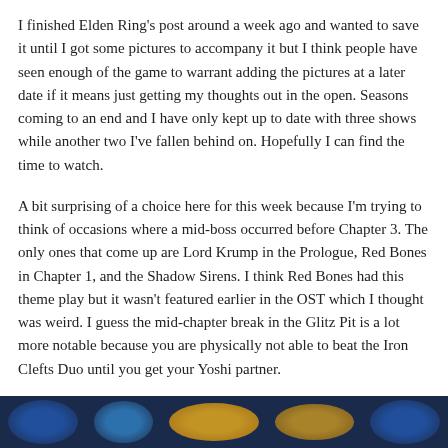I finished Elden Ring's post around a week ago and wanted to save it until I got some pictures to accompany it but I think people have seen enough of the game to warrant adding the pictures at a later date if it means just getting my thoughts out in the open. Seasons coming to an end and I have only kept up to date with three shows while another two I've fallen behind on. Hopefully I can find the time to watch.
A bit surprising of a choice here for this week because I'm trying to think of occasions where a mid-boss occurred before Chapter 3. The only ones that come up are Lord Krump in the Prologue, Red Bones in Chapter 1, and the Shadow Sirens. I think Red Bones had this theme play but it wasn't featured earlier in the OST which I thought was weird. I guess the mid-chapter break in the Glitz Pit is a lot more notable because you are physically not able to beat the Iron Clefts Duo until you get your Yoshi partner.
[Figure (photo): Partially visible image at the bottom of the page, showing a dark blue background with colorful character or game artwork elements visible.]